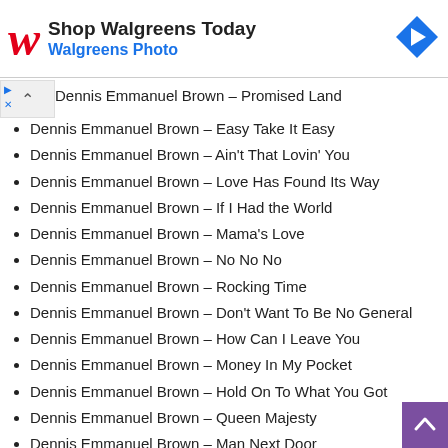[Figure (other): Walgreens advertisement banner with red W logo, 'Shop Walgreens Today' title, 'Walgreens Photo' subtitle in blue, and blue diamond navigation icon on right]
Dennis Emmanuel Brown – Promised Land
Dennis Emmanuel Brown – Easy Take It Easy
Dennis Emmanuel Brown – Ain't That Lovin' You
Dennis Emmanuel Brown – Love Has Found Its Way
Dennis Emmanuel Brown – If I Had the World
Dennis Emmanuel Brown – Mama's Love
Dennis Emmanuel Brown – No No No
Dennis Emmanuel Brown – Rocking Time
Dennis Emmanuel Brown – Don't Want To Be No General
Dennis Emmanuel Brown – How Can I Leave You
Dennis Emmanuel Brown – Money In My Pocket
Dennis Emmanuel Brown – Hold On To What You Got
Dennis Emmanuel Brown – Queen Majesty
Dennis Emmanuel Brown – Man Next Door